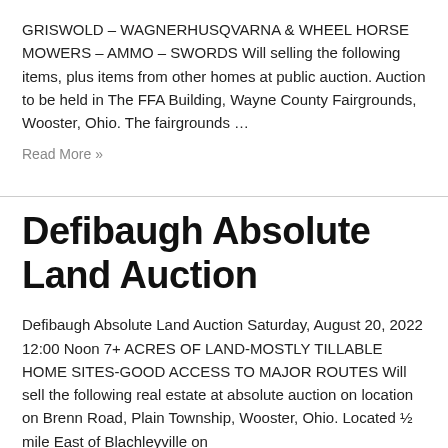GRISWOLD – WAGNERHUSQVARNA & WHEEL HORSE MOWERS – AMMO – SWORDS Will selling the following items, plus items from other homes at public auction. Auction to be held in The FFA Building, Wayne County Fairgrounds, Wooster, Ohio. The fairgrounds …
Read More »
Defibaugh Absolute Land Auction
Defibaugh Absolute Land Auction Saturday, August 20, 2022 12:00 Noon 7+ ACRES OF LAND-MOSTLY TILLABLE HOME SITES-GOOD ACCESS TO MAJOR ROUTES Will sell the following real estate at absolute auction on location on Brenn Road, Plain Township, Wooster, Ohio. Located ½ mile East of Blachleyville on